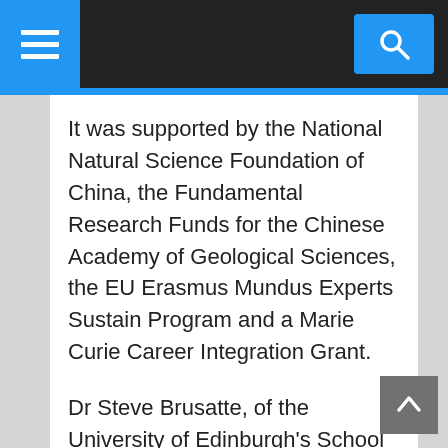Navigation bar with menu and search buttons
It was supported by the National Natural Science Foundation of China, the Fundamental Research Funds for the Chinese Academy of Geological Sciences, the EU Erasmus Mundus Experts Sustain Program and a Marie Curie Career Integration Grant.
Dr Steve Brusatte, of the University of Edinburgh's School of GeoSciences, said: "This new dinosaur is one of the most beautiful, but saddest, fossils I've ever seen. But we're lucky that the 'Mud Dragon' got stuck in the muck, because its skeleton is one of the best examples of a dinosaur that